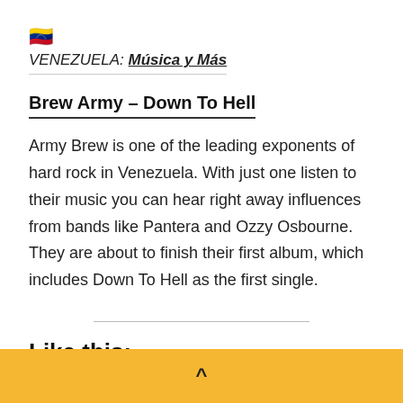🇻🇪 VENEZUELA: Música y Más
Brew Army – Down To Hell
Army Brew is one of the leading exponents of hard rock in Venezuela. With just one listen to their music you can hear right away influences from bands like Pantera and Ozzy Osbourne. They are about to finish their first album, which includes Down To Hell as the first single.
Like this:
^